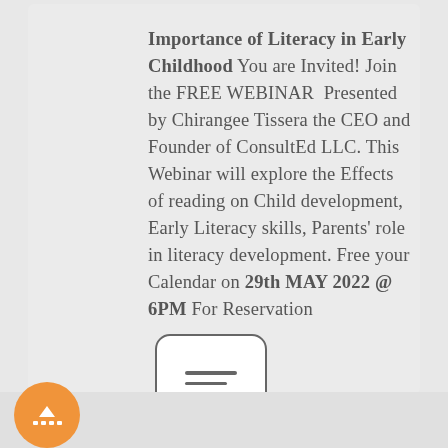Importance of Literacy in Early Childhood You are Invited! Join the FREE WEBINAR Presented by Chirangee Tissera the CEO and Founder of ConsultEd LLC. This Webinar will explore the Effects of reading on Child development, Early Literacy skills, Parents' role in literacy development. Free your Calendar on 29th MAY 2022 @ 6PM For Reservation
[Figure (other): A rounded square icon button with three horizontal lines and three dots below them, resembling a menu/list icon on a white background with a dark border.]